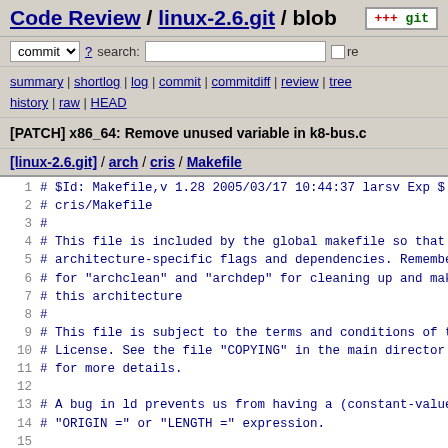Code Review / linux-2.6.git / blob
[Figure (logo): git logo badge with +++ git text]
commit ? search: [ ] re
summary | shortlog | log | commit | commitdiff | review | tree history | raw | HEAD
[PATCH] x86_64: Remove unused variable in k8-bus.c
[linux-2.6.git] / arch / cris / Makefile
1  # $Id: Makefile,v 1.28 2005/03/17 10:44:37 larsv Exp $
2  # cris/Makefile
3  #
4  # This file is included by the global makefile so that
5  # architecture-specific flags and dependencies. Remembe
6  # for "archclean" and "archdep" for cleaning up and mak
7  # this architecture
8  #
9  # This file is subject to the terms and conditions of t
10 # License.  See the file "COPYING" in the main director
11 # for more details.
12
13 # A bug in ld prevents us from having a (constant-value
14 # "ORIGIN =" or "LENGTH =" expression.
15
16 arch-y := v10
17 arch-$(CONFIG_ETRAX_ARCH_V10) := v10
18 arch-$(CONFIG_ETRAX_ARCH_V32) := v32
19